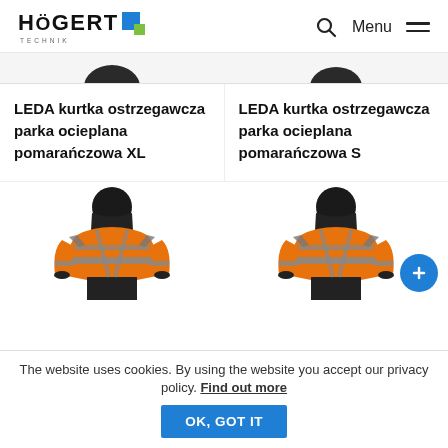[Figure (logo): HÖGERT Technik logo with blue and green square icon]
LEDA kurtka ostrzegawcza parka ocieplana pomarańczowa XL
LEDA kurtka ostrzegawcza parka ocieplana pomarańczowa S
[Figure (photo): Orange high-visibility safety jacket with grey reflective stripes and dark lower section, left product]
[Figure (photo): Orange high-visibility safety jacket with grey reflective stripes and dark lower section, right product]
The website uses cookies. By using the website you accept our privacy policy. Find out more OK, GOT IT